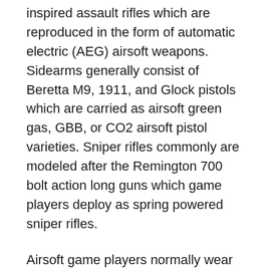inspired assault rifles which are reproduced in the form of automatic electric (AEG) airsoft weapons. Sidearms generally consist of Beretta M9, 1911, and Glock pistols which are carried as airsoft green gas, GBB, or CO2 airsoft pistol varieties. Sniper rifles commonly are modeled after the Remington 700 bolt action long guns which game players deploy as spring powered sniper rifles.
Airsoft game players normally wear camouflage patterns throughout games along with headgear like tactical vests and tactical helmets set up with pouches. Each opposing airsoft team typically uses a particular pattern to assist in recognizing friendly and unfriendly forces.